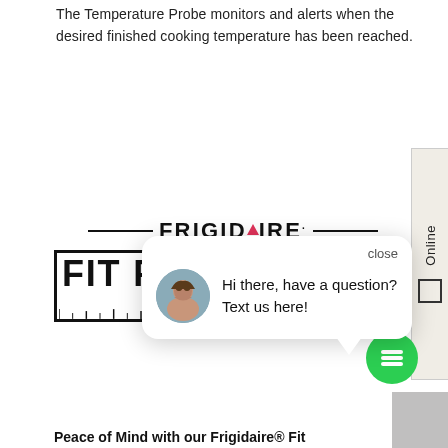The Temperature Probe monitors and alerts when the desired finished cooking temperature has been reached.
[Figure (screenshot): Frigidaire Fit Promise logo showing brand name with red triangle in the letter A, horizontal lines, and ruler-style box border]
[Figure (screenshot): Live chat popup overlay with close button, avatar photo of woman, and message 'Hi there, have a question? Text us here!' with green chat button below]
Peace of Mind with our Frigidaire® Fit